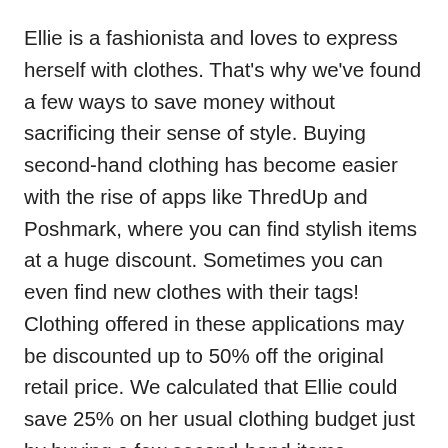Ellie is a fashionista and loves to express herself with clothes. That's why we've found a few ways to save money without sacrificing their sense of style. Buying second-hand clothing has become easier with the rise of apps like ThredUp and Poshmark, where you can find stylish items at a huge discount. Sometimes you can even find new clothes with their tags! Clothing offered in these applications may be discounted up to 50% off the original retail price. We calculated that Ellie could save 25% on her usual clothing budget just by buying a few second-hand items.
If you like this post, please save it on Pinterest